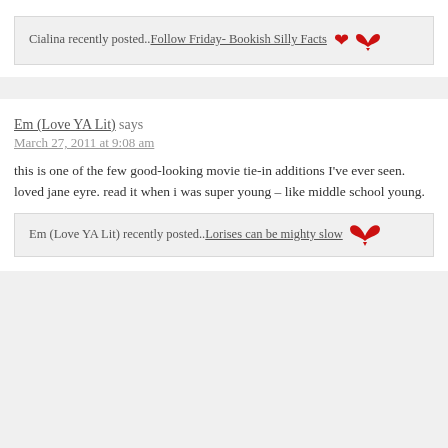Cialina recently posted..Follow Friday- Bookish Silly Facts
Em (Love YA Lit) says
March 27, 2011 at 9:08 am
this is one of the few good-looking movie tie-in additions I've ever seen. loved jane eyre. read it when i was super young – like middle school young.
Em (Love YA Lit) recently posted..Lorises can be mighty slow